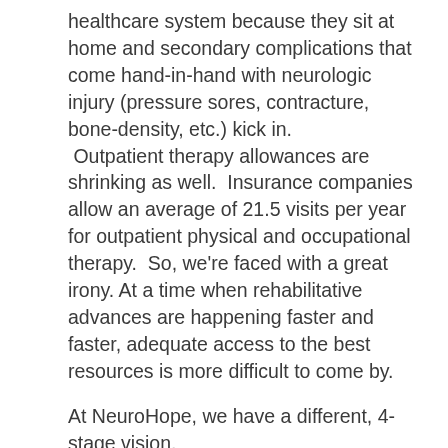healthcare system because they sit at home and secondary complications that come hand-in-hand with neurologic injury (pressure sores, contracture, bone-density, etc.) kick in.  Outpatient therapy allowances are shrinking as well.  Insurance companies allow an average of 21.5 visits per year for outpatient physical and occupational therapy.  So, we're faced with a great irony. At a time when rehabilitative advances are happening faster and faster, adequate access to the best resources is more difficult to come by.
At NeuroHope, we have a different, 4-stage vision.
We do everything we can to complete the continuum of care.  After a patient is discharged, instead of a two-stage process, we add a third stage.   By providing care at affordable, private-